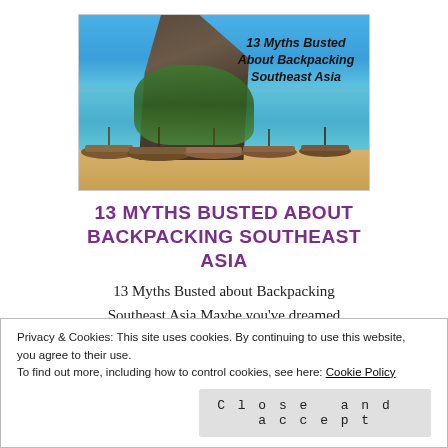[Figure (photo): Photo of Southeast Asian beach with limestone karst rock formation, turquoise water, longtail boats on sandy shore, and text overlay reading '13 Myths Busted About Backpacking Southeast Asia']
13 MYTHS BUSTED ABOUT BACKPACKING SOUTHEAST ASIA
13 Myths Busted about Backpacking Southeast Asia Maybe you've dreamed
Privacy & Cookies: This site uses cookies. By continuing to use this website, you agree to their use.
To find out more, including how to control cookies, see here: Cookie Policy
Close and accept